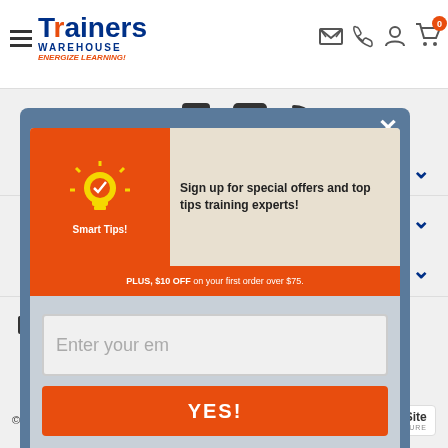[Figure (screenshot): Trainers Warehouse website header with logo, hamburger menu, and navigation icons including email, phone, account, and cart with 0 items]
[Figure (screenshot): Social media icons row: LinkedIn, YouTube, RSS feed]
[Figure (infographic): Email signup popup overlay with Smart Tips lightbulb graphic, text 'Sign up for special offers and top tips training experts!', PLUS $10 OFF on your first order over $75, email input field, and YES! button]
Contact Us
800.299.3770
[Figure (other): Payment method icons: American Express, Discover, Mastercard, PayPal, Visa]
© 2022 Trainers Warehouse
[Figure (other): TrustedSite Certified Secure badge]